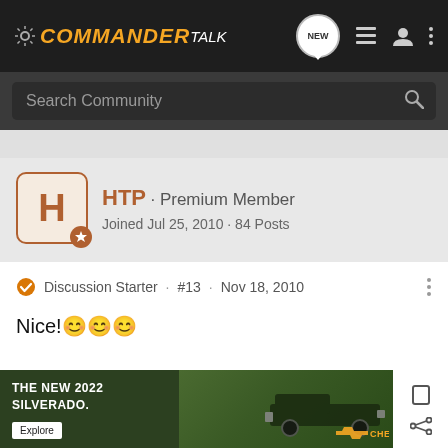COMMANDER TALK
Search Community
HTP · Premium Member
Joined Jul 25, 2010 · 84 Posts
Discussion Starter · #13 · Nov 18, 2010
Nice! 😊😊😊
[Figure (photo): Advertisement: The New 2022 Silverado by Chevrolet with Explore button]
THE NEW 2022 SILVERADO.